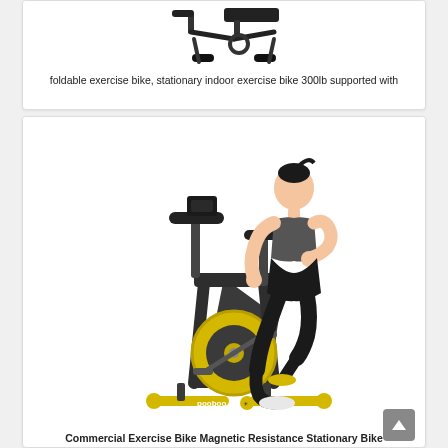[Figure (photo): A foldable/stationary exercise bike product photo on white background, showing a black compact foldable exercise bike]
foldable exercise bike, stationary indoor exercise bike 300lb supported with
[Figure (photo): A woman in black athletic wear riding a pooboo brand commercial exercise spinning bike with yellow accents and magnetic resistance, on white background]
Commercial Exercise Bike Magnetic Resistance Stationary Bike Indoor Cycling Bike